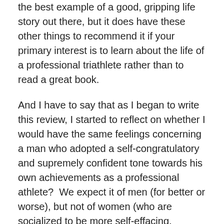the best example of a good, gripping life story out there, but it does have these other things to recommend it if your primary interest is to learn about the life of a professional triathlete rather than to read a great book.
And I have to say that as I began to write this review, I started to reflect on whether I would have the same feelings concerning a man who adopted a self-congratulatory and supremely confident tone towards his own achievements as a professional athlete?  We expect it of men (for better or worse), but not of women (who are socialized to be more self-effacing, gracious, and other-regarding). I spend all sorts of my professional life talking about why that set of expectations is sexist and unfair. Did I give her credit not just for her accomplishments, but also for the recognition of others? One thing I can say is that while she doesn't present the most gracious attitude towards her peers, she has a